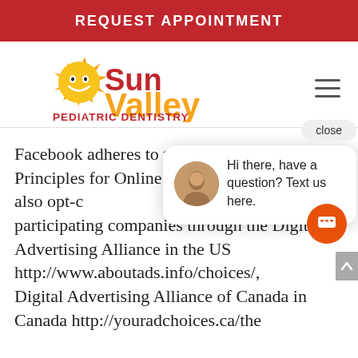REQUEST APPOINTMENT
[Figure (logo): Sun Valley Pediatric Dentistry logo with sun and smiley face]
Facebook adheres to the Self-Regulatory Principles for Online Behavious the Digita also opt-c participating companies through the Digital Advertising Alliance in the US http://www.aboutads.info/choices/, Digital Advertising Alliance of Canada in Canada http://youradchoices.ca/the
[Figure (screenshot): Chat popup overlay with close button and avatar saying 'Hi there, have a question? Text us here.' with orange chat icon]